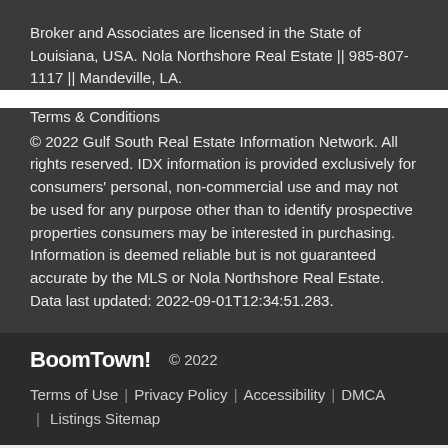Broker and Associates are licensed in the State of Louisiana, USA. Nola Northshore Real Estate || 985-807-1117 || Mandeville, LA.
Terms & Conditions
© 2022 Gulf South Real Estate Information Network. All rights reserved. IDX information is provided exclusively for consumers' personal, non-commercial use and may not be used for any purpose other than to identify prospective properties consumers may be interested in purchasing. Information is deemed reliable but is not guaranteed accurate by the MLS or Nola Northshore Real Estate. Data last updated: 2022-09-01T12:34:51.283.
BoomTown! © 2022
Terms of Use | Privacy Policy | Accessibility | DMCA | Listings Sitemap
Take a Tour
Ask A Question